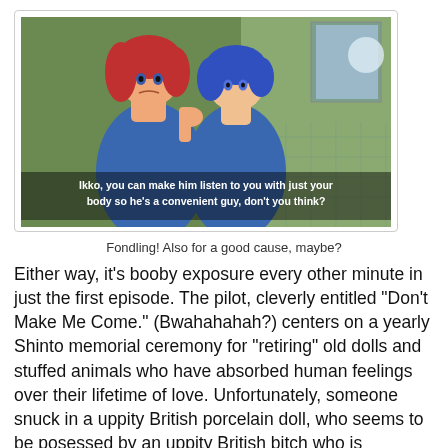[Figure (screenshot): Anime screenshot showing two female characters in blue outfits, with subtitle text: 'Ikko, you can make him listen to you with just your body so he's a convenient guy, don't you think?']
Fondling! Also for a good cause, maybe?
Either way, it's booby exposure every other minute in just the first episode. The pilot, cleverly entitled "Don't Make Me Come." (Bwahahahah?) centers on a yearly Shinto memorial ceremony for "retiring" old dolls and stuffed animals who have absorbed human feelings over their lifetime of love. Unfortunately, someone snuck in a uppity British porcelain doll, who seems to be posessed by an uppity British bitch who is unaffected by the sutras for purification because she's foreign...although she still speaks Japanese, so...? Anyway, BOOBIES!
Some are intentionally exposed to power-up poor Ikko, who is kind of a pervert.